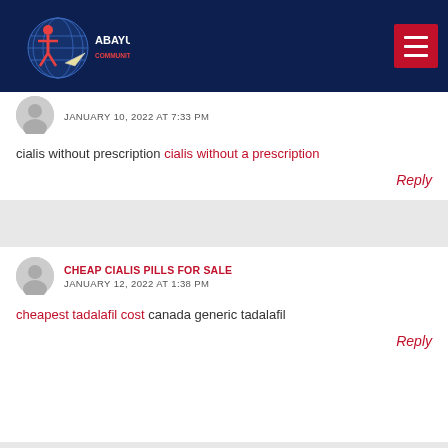ABAYUUTI COMMUNITY GROUP
JANUARY 10, 2022 AT 7:33 PM
cialis without prescription cialis without a prescription
Reply
CHEAP CIALIS PILLS FOR SALE
JANUARY 12, 2022 AT 1:38 PM
cheapest tadalafil cost canada generic tadalafil
Reply